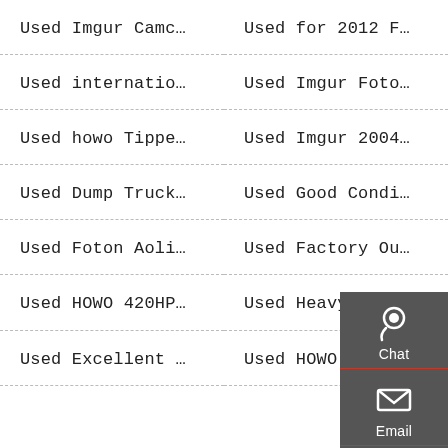Used Imgur Camc…
Used for 2012 F…
Used internatio…
Used Imgur Foto…
Used howo Tippe…
Used Imgur 2004…
Used Dump Truck…
Used Good Condi…
Used Foton Aoli…
Used Factory Ou…
Used HOWO 420HP…
Used Heavy Duty…
Used Excellent …
Used HOWO 10 Wh…
[Figure (infographic): Floating dark sidebar with Chat (headset icon), Email (envelope icon), Contact (chat bubble icon), and Top (arrow up icon) buttons]